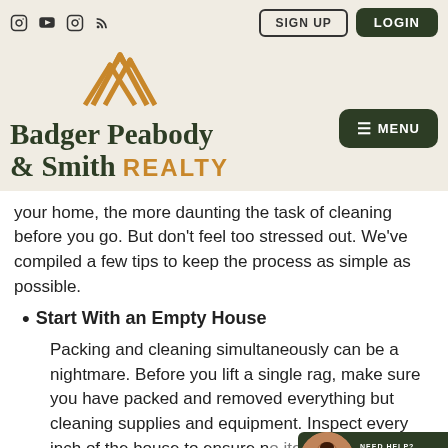Badger Peabody & Smith REALTY — website header with social icons, SIGN UP, LOGIN, MENU buttons and mountain logo
your home, the more daunting the task of cleaning before you go. But don't feel too stressed out. We've compiled a few tips to keep the process as simple as possible.
Start With an Empty House
Packing and cleaning simultaneously can be a nightmare. Before you lift a single rag, make sure you have packed and removed everything but cleaning supplies and equipment. Inspect every inch of the house to ensure n[thing is] left in the dishwasher, towels in the [bathroom...]